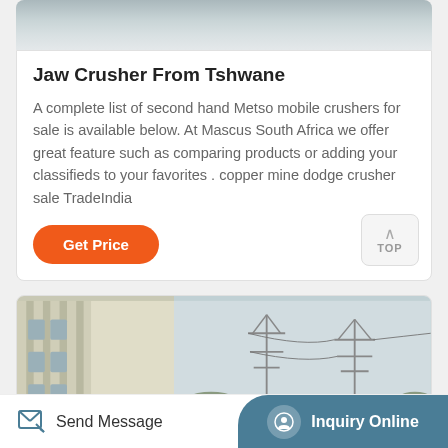[Figure (photo): Top portion of a product/machinery image, partially visible, showing grey tones]
Jaw Crusher From Tshwane
A complete list of second hand Metso mobile crushers for sale is available below. At Mascus South Africa we offer great feature such as comparing products or adding your classifieds to your favorites . copper mine dodge crusher sale TradeIndia
[Figure (other): Orange 'Get Price' button]
[Figure (photo): Bottom card showing a building on the left and power transmission towers on the right, partially visible]
Send Message    Inquiry Online